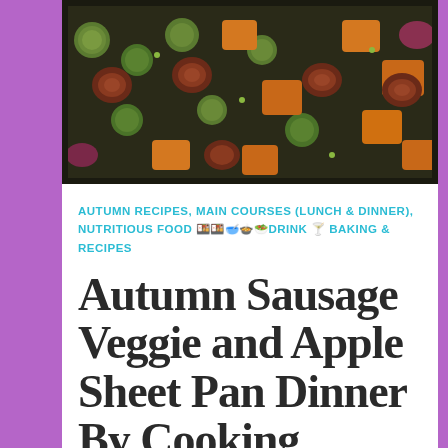[Figure (photo): Overhead shot of a roasted sheet pan dinner with brussels sprouts, sweet potatoes, sausage slices, and other vegetables in a dark baking pan]
AUTUMN RECIPES, MAIN COURSES (LUNCH & DINNER), NUTRITIOUS FOOD 🍱🍱🥣🍱🥗DRINK 🍸 BAKING & RECIPES
Autumn Sausage Veggie and Apple Sheet Pan Dinner By Cooking Classy
September 23, 2017   beautifulyou583
[Figure (photo): Close-up of cooked sausage pieces with herbs in a dark pan, partially visible at bottom of page]